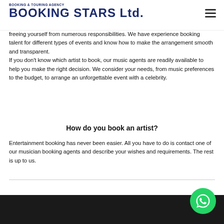BOOKING & TOURING AGENCY BOOKING STARS Ltd.
freeing yourself from numerous responsibilities. We have experience booking talent for different types of events and know how to make the arrangement smooth and transparent.
If you don't know which artist to book, our music agents are readily available to help you make the right decision. We consider your needs, from music preferences to the budget, to arrange an unforgettable event with a celebrity.
How do you book an artist?
Entertainment booking has never been easier. All you have to do is contact one of our musician booking agents and describe your wishes and requirements. The rest is up to us.